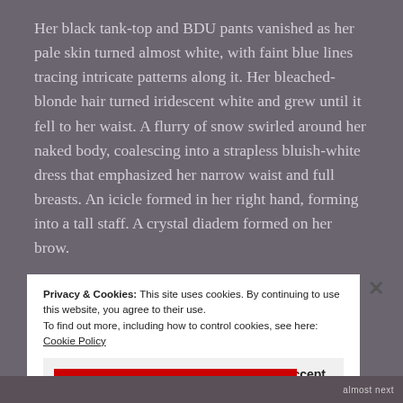Her black tank-top and BDU pants vanished as her pale skin turned almost white, with faint blue lines tracing intricate patterns along it. Her bleached-blonde hair turned iridescent white and grew until it fell to her waist. A flurry of snow swirled around her naked body, coalescing into a strapless bluish-white dress that emphasized her narrow waist and full breasts. An icicle formed in her right hand, forming into a tall staff. A crystal diadem formed on her brow.
Privacy & Cookies: This site uses cookies. By continuing to use this website, you agree to their use.
To find out more, including how to control cookies, see here: Cookie Policy
Close and accept